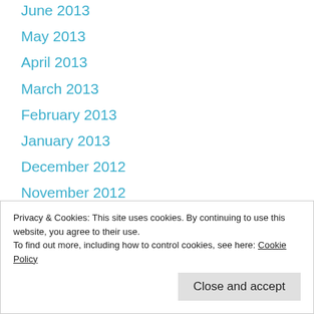June 2013
May 2013
April 2013
March 2013
February 2013
January 2013
December 2012
November 2012
October 2012
September 2012
Privacy & Cookies: This site uses cookies. By continuing to use this website, you agree to their use.
To find out more, including how to control cookies, see here: Cookie Policy
May 2012